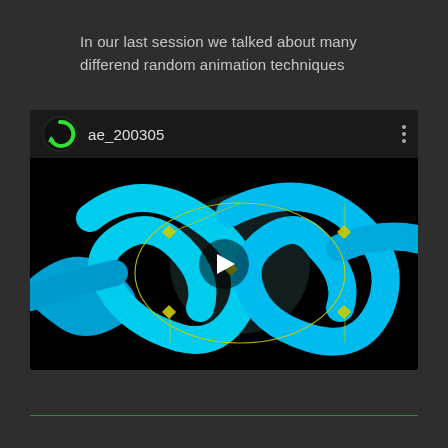In our last session we talked about many differend random animation techniques
[Figure (screenshot): Video thumbnail/player showing ae_200305 with a green logo icon, a title bar, and a black canvas with cyan/blue ribbon knot animation shapes with yellow bezier path overlay and a play button in the center.]